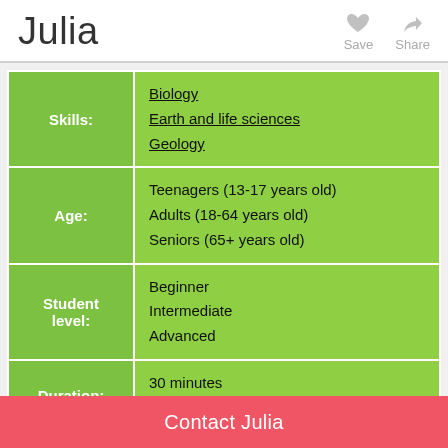Julia
| Label | Value |
| --- | --- |
| Skills: | Biology
Earth and life sciences
Geology |
| Age: | Teenagers (13-17 years old)
Adults (18-64 years old)
Seniors (65+ years old) |
| Student level: | Beginner
Intermediate
Advanced |
| Duration: | 30 minutes
45 minutes |
Contact Julia